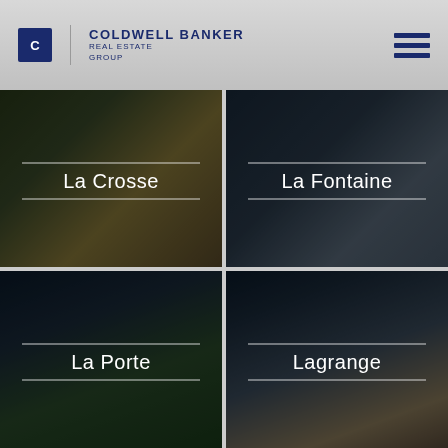[Figure (logo): Coldwell Banker Real Estate Group logo with blue square icon and company name]
[Figure (other): Hamburger menu icon with three blue horizontal bars]
[Figure (photo): La Crosse property photo - garden/landscaping with dark overlay and white text label]
[Figure (photo): La Fontaine property photo - interior/architectural with dark overlay and white text label]
[Figure (photo): La Porte property photo - aerial city view with dark overlay and white text label]
[Figure (photo): Lagrange property photo - house exterior with dark overlay and white text label]